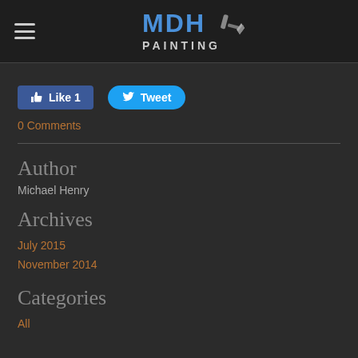MDH PAINTING
[Figure (logo): MDH Painting logo with blue MDH text and paintbrush icon, with PAINTING written below in white]
[Figure (infographic): Facebook Like button with count 1 and Twitter Tweet button]
0 Comments
Author
Michael Henry
Archives
July 2015
November 2014
Categories
All